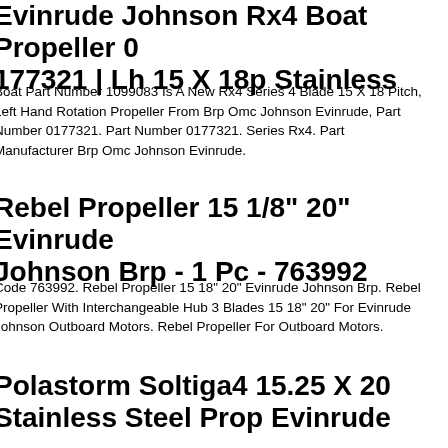Evinrude Johnson Rx4 Boat Propeller 0177321 | Lh 15 X 18p Stainless
Boat Part Number 1099083 Is A New Rx4 Series 4 Blade 15 X 18 Pitch, Left Hand Rotation Propeller From Brp Omc Johnson Evinrude, Part Number 0177321. Part Number 0177321. Series Rx4. Part Manufacturer Brp Omc Johnson Evinrude.
Rebel Propeller 15 1/8" 20" Evinrude Johnson Brp - 1 Pc - 763992
Code 763992. Rebel Propeller 15 18" 20" Evinrude Johnson Brp. Rebel Propeller With Interchangeable Hub 3 Blades 15 18" 20" For Evinrude Johnson Outboard Motors. Rebel Propeller For Outboard Motors.
Polastorm Soltiga4 15.25 X 20 Stainless Steel Prop Evinrude